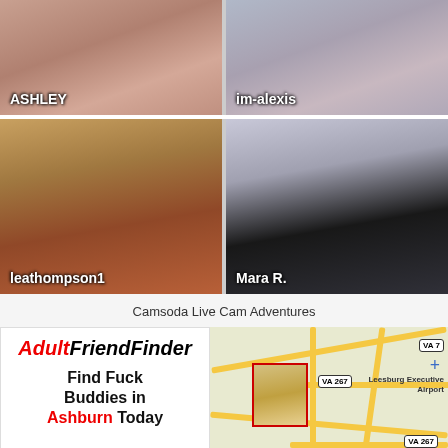[Figure (photo): Grid of four webcam performer thumbnails: ASHLEY (top left), im-alexis (top right), leathompson1 (bottom left), Mara R. (bottom right)]
Camsoda Live Cam Adventures
[Figure (photo): AdultFriendFinder advertisement with logo and text 'Find Fuck Buddies in Ashburn Today' next to a map showing Leesburg Executive Airport area with VA 267 and VA 7 road markers]